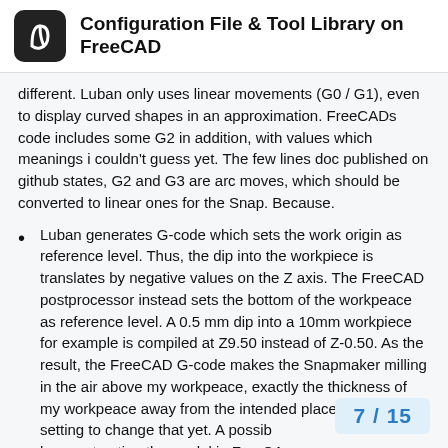Configuration File & Tool Library on FreeCAD
different. Luban only uses linear movements (G0 / G1), even to display curved shapes in an approximation. FreeCADs code includes some G2 in addition, with values which meanings i couldn't guess yet. The few lines doc published on github states, G2 and G3 are arc moves, which should be converted to linear ones for the Snap. Because.
Luban generates G-code which sets the work origin as reference level. Thus, the dip into the workpiece is translates by negative values on the Z axis. The FreeCAD postprocessor instead sets the bottom of the workpeace as reference level. A 0.5 mm dip into a 10mm workpiece for example is compiled at Z9.50 instead of Z-0.50. As the result, the FreeCAD G-code makes the Snapmaker milling in the air above my workpeace, exactly the thickness of my workpeace away from the intended place. I didn't find a setting to change that yet. A possib be constructing the model in FreeCA
7 / 15